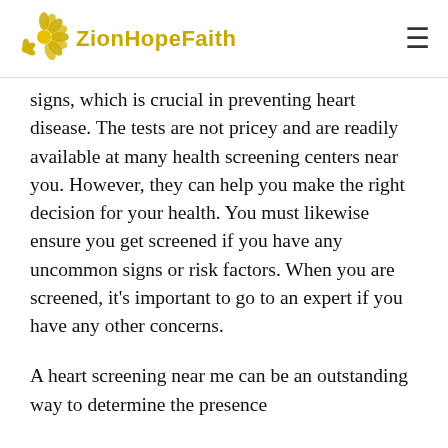ZionHopeFaith
signs, which is crucial in preventing heart disease. The tests are not pricey and are readily available at many health screening centers near you. However, they can help you make the right decision for your health. You must likewise ensure you get screened if you have any uncommon signs or risk factors. When you are screened, it's important to go to an expert if you have any other concerns.
A heart screening near me can be an outstanding way to determine the presence